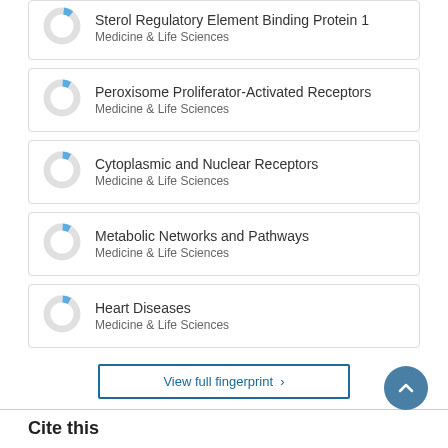Sterol Regulatory Element Binding Protein 1 — Medicine & Life Sciences
Peroxisome Proliferator-Activated Receptors — Medicine & Life Sciences
Cytoplasmic and Nuclear Receptors — Medicine & Life Sciences
Metabolic Networks and Pathways — Medicine & Life Sciences
Heart Diseases — Medicine & Life Sciences
View full fingerprint ›
Cite this